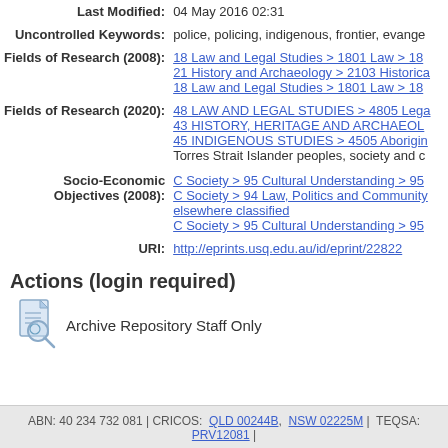| Last Modified: | 04 May 2016 02:31 |
| Uncontrolled Keywords: | police, policing, indigenous, frontier, evange… |
| Fields of Research (2008): | 18 Law and Legal Studies > 1801 Law > 18…
21 History and Archaeology > 2103 Historica…
18 Law and Legal Studies > 1801 Law > 18… |
| Fields of Research (2020): | 48 LAW AND LEGAL STUDIES > 4805 Lega…
43 HISTORY, HERITAGE AND ARCHAEOL…
45 INDIGENOUS STUDIES > 4505 Aborigin…
Torres Strait Islander peoples, society and c… |
| Socio-Economic Objectives (2008): | C Society > 95 Cultural Understanding > 95…
C Society > 94 Law, Politics and Community…
elsewhere classified
C Society > 95 Cultural Understanding > 95… |
| URI: | http://eprints.usq.edu.au/id/eprint/22822 |
Actions (login required)
[Figure (illustration): Document with magnifying glass icon representing Archive Repository Staff Only]
Archive Repository Staff Only
ABN: 40 234 732 081 | CRICOS: QLD 00244B, NSW 02225M | TEQSA: PRV12081 |